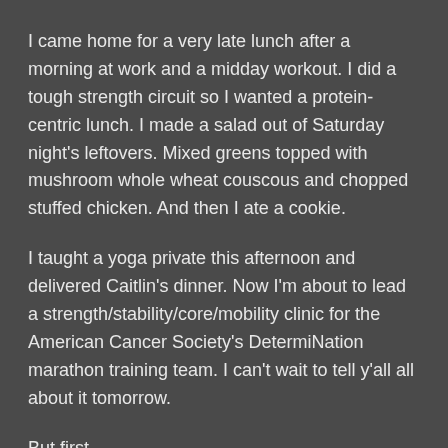I came home for a very late lunch after a morning at work and a midday workout. I did a tough strength circuit so I wanted a protein-centric lunch. I made a salad out of Saturday night's leftovers. Mixed greens topped with mushroom whole wheat couscous and chopped stuffed chicken. And then I ate a cookie.
I taught a yoga private this afternoon and delivered Caitlin's dinner. Now I'm about to lead a strength/stability/core/mobility clinic for the American Cancer Society's DetermiNation marathon training team. I can't wait to tell y'all all about it tomorrow.
But first...